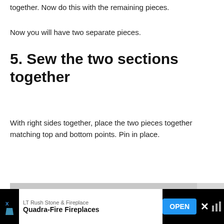together. Now do this with the remaining pieces.
Now you will have two separate pieces.
5. Sew the two sections together
With right sides together, place the two pieces together matching top and bottom points. Pin in place.
[Figure (photo): Close-up photo of knitted fabric pieces being sewn together, showing a red arrow pointing to white dashed stitching line along the seam where dark grey, green, light blue and golden/mustard colored knit pieces meet, pinned together.]
LT Rush Stone & Fireplace  Quadra-Fire Fireplaces  OPEN